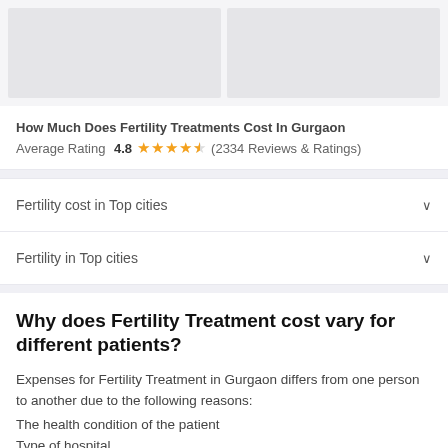[Figure (photo): Two light gray placeholder image boxes side by side]
How Much Does Fertility Treatments Cost In Gurgaon
Average Rating 4.8 ★★★★½ (2334 Reviews & Ratings)
Fertility cost in Top cities
Fertility in Top cities
Why does Fertility Treatment cost vary for different patients?
Expenses for Fertility Treatment in Gurgaon differs from one person to another due to the following reasons:
The health condition of the patient
Type of hospital